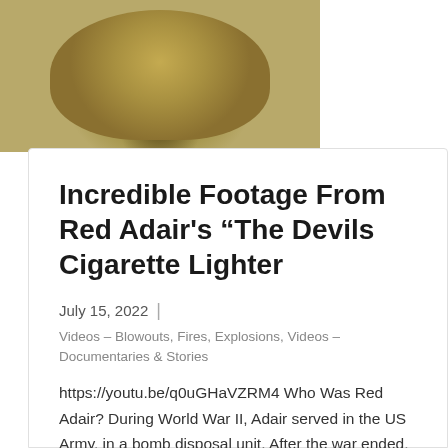[Figure (photo): Sepia-toned photograph of a smiling man, cropped to show face and upper body, top portion of the page]
Incredible Footage From Red Adair's “The Devils Cigarette Lighter
July 15, 2022
Videos – Blowouts, Fires, Explosions, Videos – Documentaries & Stories
https://youtu.be/q0uGHaVZRM4 Who Was Red Adair? During World War II, Adair served in the US Army, in a bomb disposal unit. After the war ended, he started working in the oil…
Read More